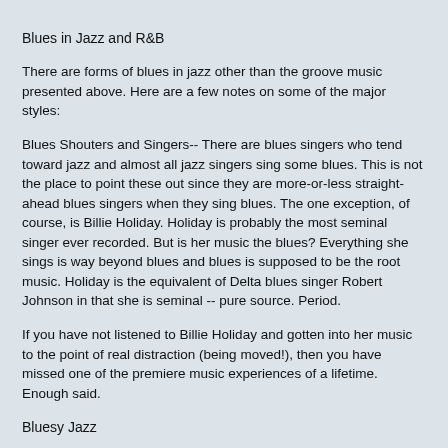Blues in Jazz and R&B
There are forms of blues in jazz other than the groove music presented above. Here are a few notes on some of the major styles:
Blues Shouters and Singers-- There are blues singers who tend toward jazz and almost all jazz singers sing some blues. This is not the place to point these out since they are more-or-less straight-ahead blues singers when they sing blues. The one exception, of course, is Billie Holiday. Holiday is probably the most seminal singer ever recorded. But is her music the blues? Everything she sings is way beyond blues and blues is supposed to be the root music. Holiday is the equivalent of Delta blues singer Robert Johnson in that she is seminal -- pure source. Period.
If you have not listened to Billie Holiday and gotten into her music to the point of real distraction (being moved!), then you have missed one of the premiere music experiences of a lifetime. Enough said.
Bluesy Jazz
There is also a style of blues-laden jazz that is not so much funky as downright bluesy. Kenny Burrell is perhaps the chief exponent of this style of jazz.